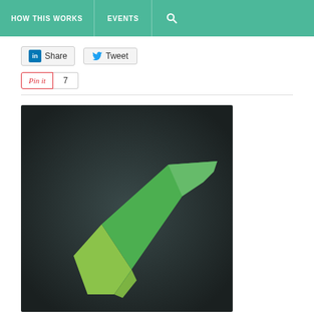HOW THIS WORKS   EVENTS   🔍
[Figure (screenshot): Social sharing buttons: LinkedIn Share button, Tweet button, Pin it button with count of 7]
[Figure (logo): Dark background image with a large green checkmark/tick icon in the center, rendered in a 3D polygon style with yellow-green and bright green colors]